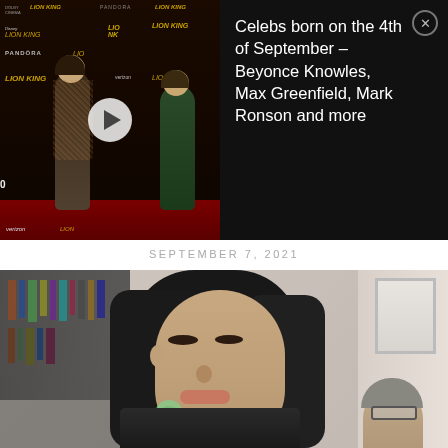[Figure (screenshot): Video card with thumbnail of Lion King premiere red carpet event on left (black background with play button overlay), and video title text on dark background on right with close (X) button]
Celebs born on the 4th of September – Beyonce Knowles, Max Greenfield, Mark Ronson and more
SEPTEMBER 7, 2021
[Figure (screenshot): Video still of a woman with long dark hair in a room setting, partial view of another person on the right]